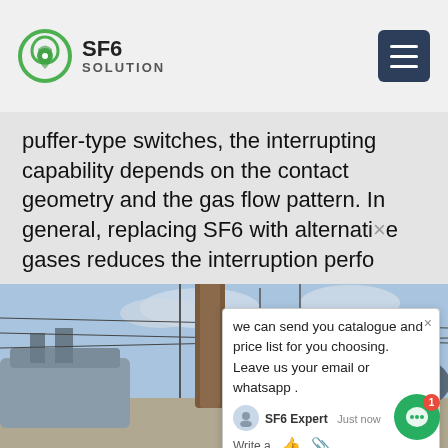SF6 SOLUTION
puffer-type switches, the interrupting capability depends on the contact geometry and the gas flow pattern. In general, replacing SF6 with alternative gases reduces the interruption perfo...
[Figure (photo): Outdoor electrical substation with SF6 gas-insulated equipment, a yellow ISUZU service truck, and workers. High-voltage transmission lines visible in background.]
we can send you catalogue and price list for you choosing. Leave us your email or whatsapp . SF6 Expert Just now Write a